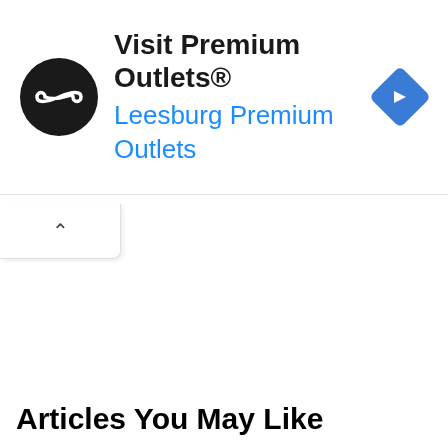[Figure (screenshot): Advertisement banner for Premium Outlets featuring a black circular logo with infinity-like symbol, text 'Visit Premium Outlets®' in bold black and 'Leesburg Premium Outlets' in blue, and a blue diamond navigation icon on the right. Below the banner is a collapse/chevron button and ad control icons.]
Articles You May Like